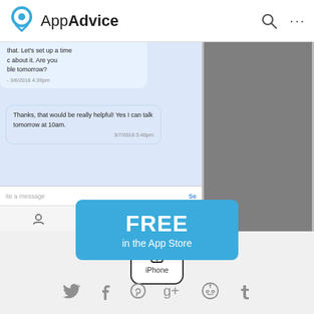AppAdvice
[Figure (screenshot): App screenshot showing a messaging interface with chat bubbles and two grey placeholder panels]
[Figure (other): iPhone device badge icon]
FREE
in the App Store
[Figure (other): Social sharing icons row: Twitter, Facebook, Pinterest, Google+, Reddit, Tumblr]